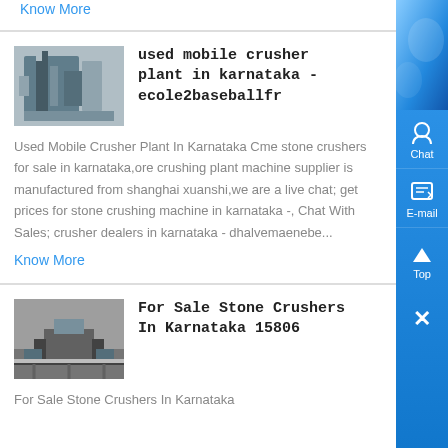Know More
used mobile crusher plant in karnataka - ecole2baseballfr
[Figure (photo): Industrial crusher plant building with blue metal structure]
Used Mobile Crusher Plant In Karnataka Cme stone crushers for sale in karnataka,ore crushing plant machine supplier is manufactured from shanghai xuanshi,we are a live chat; get prices for stone crushing machine in karnataka -, Chat With Sales; crusher dealers in karnataka - dhalvemaenebe...
Know More
For Sale Stone Crushers In Karnataka 15806
[Figure (photo): Stone crusher machinery setup in a pit or quarry area]
For Sale Stone Crushers In Karnataka